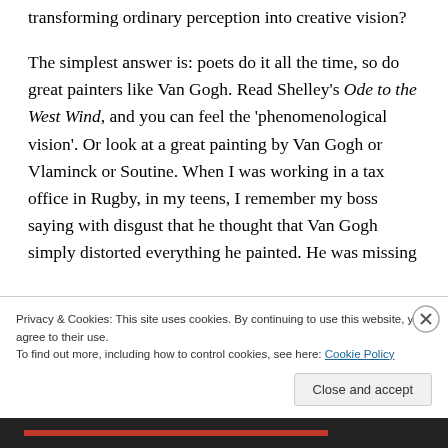…but how, sir? What is it that is the art of transforming ordinary perception into creative vision?
The simplest answer is: poets do it all the time, so do great painters like Van Gogh. Read Shelley's Ode to the West Wind, and you can feel the 'phenomenological vision'. Or look at a great painting by Van Gogh or Vlaminck or Soutine. When I was working in a tax office in Rugby, in my teens, I remember my boss saying with disgust that he thought that Van Gogh simply distorted everything he painted. He was missing
Privacy & Cookies: This site uses cookies. By continuing to use this website, you agree to their use.
To find out more, including how to control cookies, see here: Cookie Policy
Close and accept